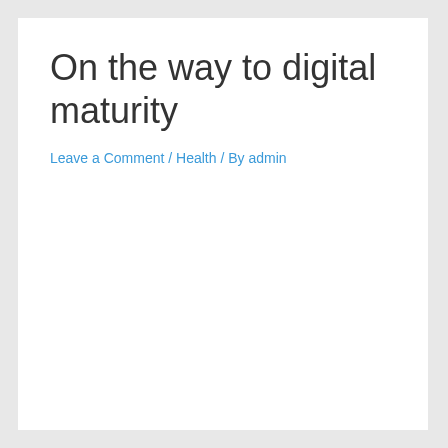On the way to digital maturity
Leave a Comment / Health / By admin